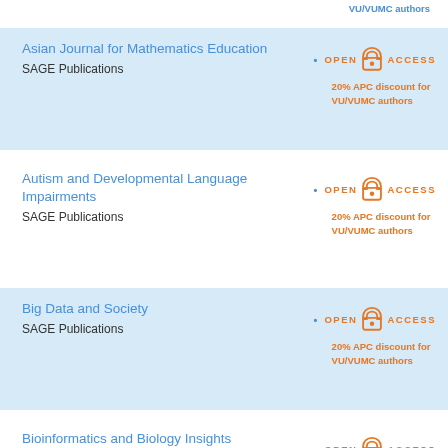VU/VUMC authors
Asian Journal for Mathematics Education
SAGE Publications
20% APC discount for VU/VUMC authors
Autism and Developmental Language Impairments
SAGE Publications
20% APC discount for VU/VUMC authors
Big Data and Society
SAGE Publications
20% APC discount for VU/VUMC authors
Bioinformatics and Biology Insights
SAGE Publications
20% APC discount for